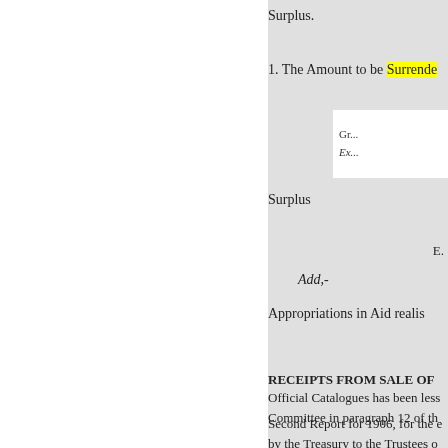Surplus.
1. The Amount to be Surrende[red]
Gr...
Ex...
Surplus
E.
Add,-
Appropriations in Aid realis[ed]
RECEIPTS FROM SALE OF [Official Catalogues has been less... Committee in paragraph 12 of th...]
Second Report for 1906, for the [... by the Treasury to the Trustees o...]
Grant in
Aid.
GRANT IN AID ACCOUNT.